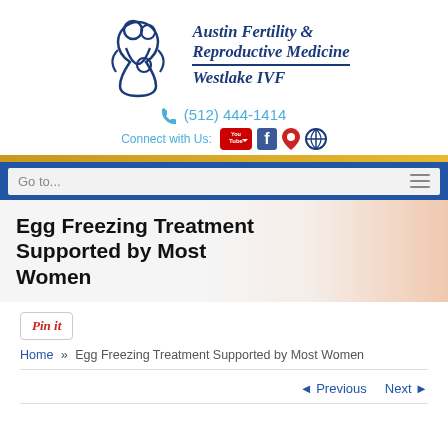[Figure (logo): Austin Fertility & Reproductive Medicine Westlake IVF logo with stylized couple/baby graphic in dark blue]
(512) 444-1414
Connect with Us:
[Figure (illustration): Social media icons: YouTube, Facebook, Google Maps pin, and compass/website icon]
Egg Freezing Treatment Supported by Most Women
[Figure (photo): Background photo showing a woman's shoulder/skin, peachy tones]
[Figure (illustration): Pinterest Pin it button]
Home » Egg Freezing Treatment Supported by Most Women
◄ Previous   Next ►